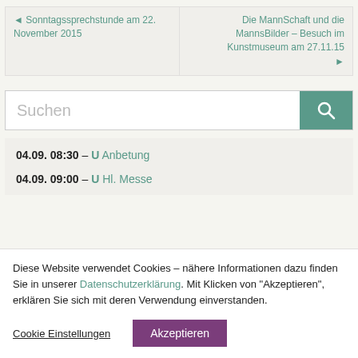◄ Sonntagssprechstunde am 22. November 2015
Die MannSchaft und die MannsBilder – Besuch im Kunstmuseum am 27.11.15 ►
[Figure (screenshot): Search bar with teal search button and magnifying glass icon, placeholder text 'Suchen']
04.09. 08:30 – U Anbetung
04.09. 09:00 – U Hl. Messe
Diese Website verwendet Cookies – nähere Informationen dazu finden Sie in unserer Datenschutzerklärung. Mit Klicken von "Akzeptieren", erklären Sie sich mit deren Verwendung einverstanden.
Cookie Einstellungen
Akzeptieren